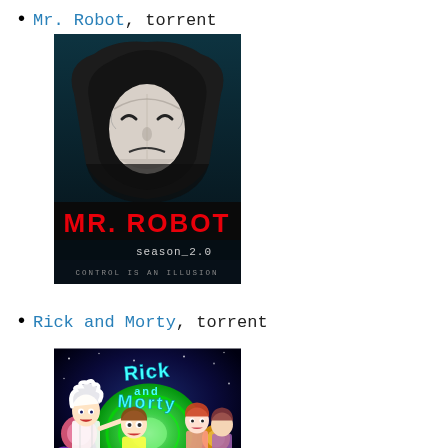Mr. Robot, torrent
[Figure (photo): Mr. Robot Season 2.0 DVD/Blu-ray cover art featuring a hooded figure wearing a white mask with the text 'MR. ROBOT season_2.0' and tagline 'CONTROL IS AN ILLUSION']
Rick and Morty, torrent
[Figure (photo): Rick and Morty animated show cover art featuring the characters Rick and Morty with colorful space background]